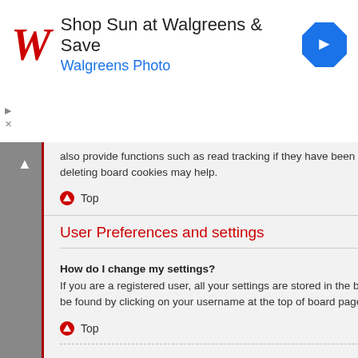[Figure (other): Walgreens advertisement banner: 'Shop Sun at Walgreens & Save' with Walgreens Photo subtitle, Walgreens logo, and navigation arrow icon]
also provide functions such as read tracking if they have been enabled by a board administrator. If you are having login or logout problems, deleting board cookies may help.
Top
User Preferences and settings
How do I change my settings?
If you are a registered user, all your settings are stored in the board database. To alter them, visit your User Control Panel; a link can usually be found by clicking on your username at the top of board pages. This system will allow you to change all your settings and preferences.
Top
How do I prevent my username appearing in the online user listings?
Within your User Control Panel, under “Board preferences”,